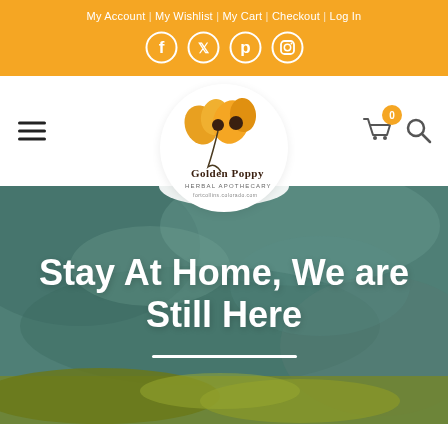My Account | My Wishlist | My Cart | Checkout | Log In
[Figure (logo): Orange top bar with navigation links and social media icons (Facebook, Twitter, Pinterest, Instagram)]
[Figure (logo): Golden Poppy Herbal Apothecary logo with poppy flowers in a circular white badge, hamburger menu on left, cart and search icons on right]
Stay At Home, We are Still Here